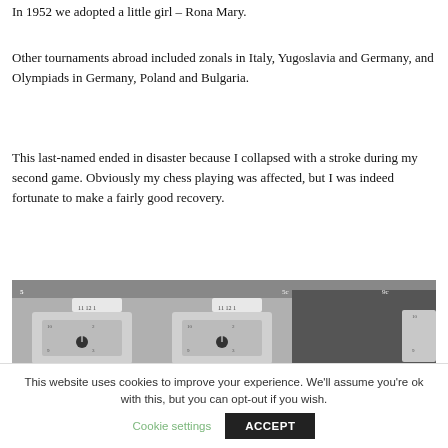In 1952 we adopted a little girl – Rona Mary.
Other tournaments abroad included zonals in Italy, Yugoslavia and Germany, and Olympiads in Germany, Poland and Bulgaria.
This last-named ended in disaster because I collapsed with a stroke during my second game. Obviously my chess playing was affected, but I was indeed fortunate to make a fairly good recovery.
[Figure (photo): Black and white photograph showing chess clocks on a table, partially cropped]
This website uses cookies to improve your experience. We'll assume you're ok with this, but you can opt-out if you wish.
Cookie settings    ACCEPT